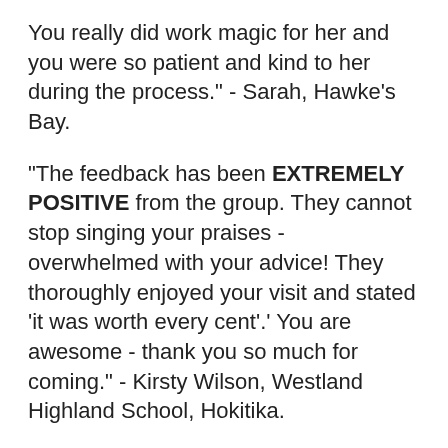You really did work magic for her and you were so patient and kind to her during the process." - Sarah, Hawke's Bay.
"The feedback has been EXTREMELY POSITIVE from the group. They cannot stop singing your praises - overwhelmed with your advice! They thoroughly enjoyed your visit and stated 'it was worth every cent'.' You are awesome - thank you so much for coming." - Kirsty Wilson, Westland Highland School, Hokitika.
"The outfit was just perfect, I felt confident in what I was wearing. And my daughter - who is my most honest critic- told me my new jeans make me look slim!  Music to my ears.  Thanks so much for your very clever imput. Worth every penny it was, next time I feel the need to